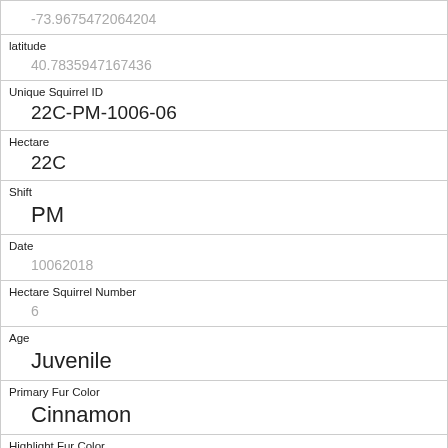| (longitude) | -73.9675472064204 |
| latitude | 40.7835947167436 |
| Unique Squirrel ID | 22C-PM-1006-06 |
| Hectare | 22C |
| Shift | PM |
| Date | 10062018 |
| Hectare Squirrel Number | 6 |
| Age | Juvenile |
| Primary Fur Color | Cinnamon |
| Highlight Fur Color | Gray |
| Combination of Primary and Highlight Color | Cinnamon+Gray |